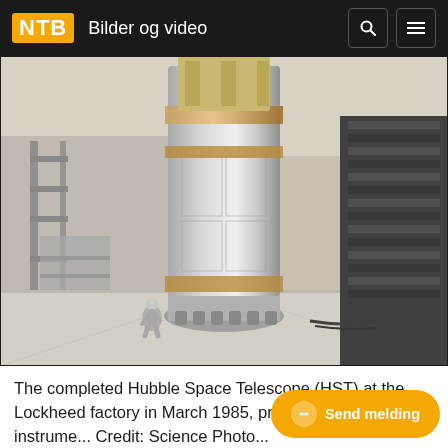NTB  Bilder og video
[Figure (photo): The completed Hubble Space Telescope (HST) in a large clean room facility at the Lockheed factory, photographed in March 1985. A worker in a gray jumpsuit and hardhat walks across the factory floor near the large silver cylindrical telescope structure. The right side of the image shows dark industrial equipment.]
The completed Hubble Space Telescope (HST) at the Lockheed factory in March 1985, pr... of the scientific instrume... Credit: Science Photo...